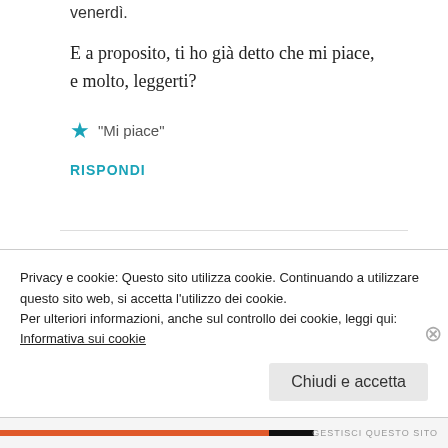venerdì.
E a proposito, ti ho già detto che mi piace, e molto, leggerti?
★ "Mi piace"
RISPONDI
[Figure (logo): Circular avatar logo with geometric diamond/checker pattern in dark maroon/purple]
malanguzzi
Privacy e cookie: Questo sito utilizza cookie. Continuando a utilizzare questo sito web, si accetta l'utilizzo dei cookie.
Per ulteriori informazioni, anche sul controllo dei cookie, leggi qui:
Informativa sui cookie
Chiudi e accetta